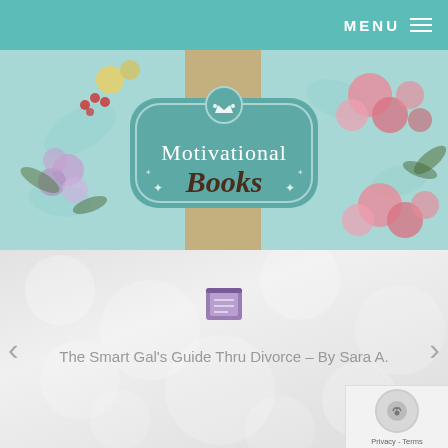MENU
[Figure (illustration): Decorative banner image with floral design on mint/teal background. Features a teal badge/label in the center with a crown icon and the text 'Motivational Books' in white and brown script lettering. Floral arrangements of pink roses, purple lilacs, and yellow flowers surround the badge. A vertical tan/kraft paper strip runs through the center.]
[Figure (illustration): Book card section with soft gray bokeh background. Shows a purple book emoji/icon in the center. Below the icon: text 'The Smart Gal's Guide Thru Divorce – By Sara A.' Navigation arrows on left and right sides. A reCAPTCHA/Privacy badge in the bottom right corner.]
The Smart Gal's Guide Thru Divorce – By Sara A.
Privacy - Terms